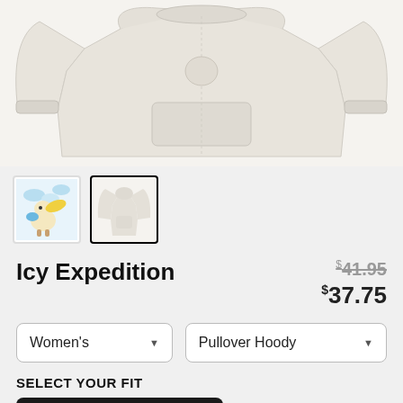[Figure (photo): Product photo of a light grey pullover hoodie displayed flat, showing front with kangaroo pocket]
[Figure (photo): Thumbnail 1: illustrated design with animal character, clouds, yellow and blue colors]
[Figure (photo): Thumbnail 2 (selected): hoodie product photo thumbnail, currently active/selected]
Icy Expedition
$41.95 (strikethrough) $37.75
Women's (dropdown) | Pullover Hoody (dropdown)
SELECT YOUR FIT